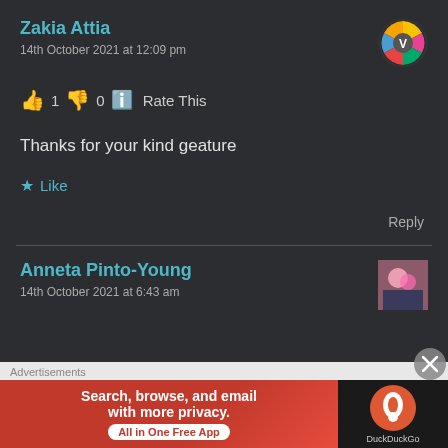Zakia Attia
14th October 2021 at 12:09 pm
👍 1 👎 0 ℹ️ Rate This
Thanks for your kind geature
★ Like
Reply
Anneta Pinto-Young
14th October 2021 at 6:43 am
Advertisements
Search, browse, and email with more privacy. All in One Free App